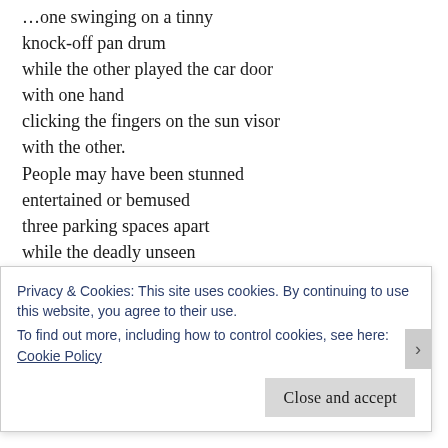…one swinging on a tinny knock-off pan drum
while the other played the car door
with one hand
clicking the fingers on the sun visor
with the other.
People may have been stunned
entertained or bemused
three parking spaces apart
while the deadly unseen
stalked and threatened.
.
From the darkness arose
music to match the mood.
Privacy & Cookies: This site uses cookies. By continuing to use this website, you agree to their use.
To find out more, including how to control cookies, see here: Cookie Policy